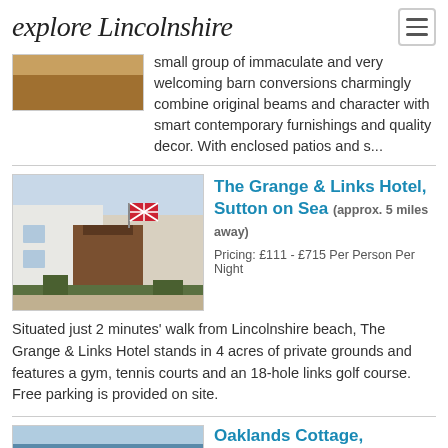explore Lincolnshire
small group of immaculate and very welcoming barn conversions charmingly combine original beams and character with smart contemporary furnishings and quality decor. With enclosed patios and s...
[Figure (photo): Photo of barn conversion property (partially visible at top)]
[Figure (photo): Photo of The Grange & Links Hotel entrance with Union Jack flag and wooden porch]
The Grange & Links Hotel, Sutton on Sea (approx. 5 miles away)
Pricing: £111 - £715 Per Person Per Night
Situated just 2 minutes' walk from Lincolnshire beach, The Grange & Links Hotel stands in 4 acres of private grounds and features a gym, tennis courts and an 18-hole links golf course. Free parking is provided on site.
[Figure (photo): Partial photo of Oaklands Cottage (bottom of page, cut off)]
Oaklands Cottage,